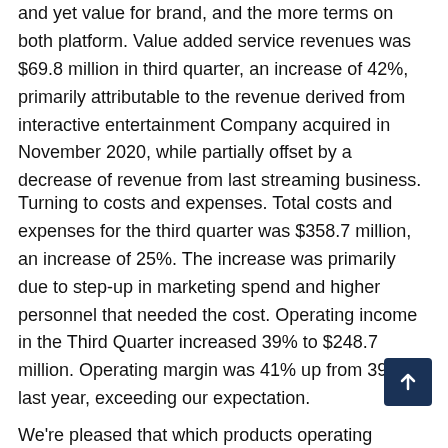and yet value for brand, and the more terms on both platform. Value added service revenues was $69.8 million in third quarter, an increase of 42%, primarily attributable to the revenue derived from interactive entertainment Company acquired in November 2020, while partially offset by a decrease of revenue from last streaming business.
Turning to costs and expenses. Total costs and expenses for the third quarter was $358.7 million, an increase of 25%. The increase was primarily due to step-up in marketing spend and higher personnel that needed the cost. Operating income in the Third Quarter increased 39% to $248.7 million. Operating margin was 41% up from 39% last year, exceeding our expectation.
We're pleased that which products operating